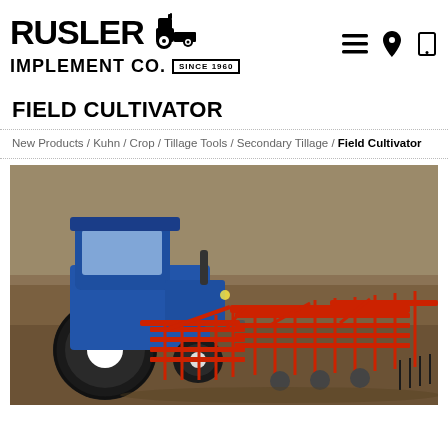RUSLER IMPLEMENT CO. SINCE 1960
FIELD CULTIVATOR
New Products / Kuhn / Crop / Tillage Tools / Secondary Tillage / Field Cultivator
[Figure (photo): Blue tractor pulling a large red Kuhn field cultivator implement across a dark soil field, aerial/side view]